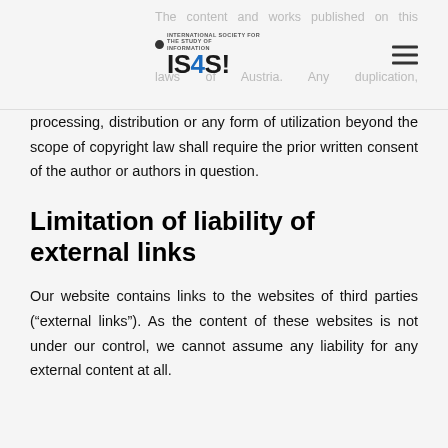The content and works published on this site are governed by the copyright laws of Austria. Any duplication,
processing, distribution or any form of utilization beyond the scope of copyright law shall require the prior written consent of the author or authors in question.
Limitation of liability of external links
Our website contains links to the websites of third parties (“external links”). As the content of these websites is not under our control, we cannot assume any liability for any external content at all.